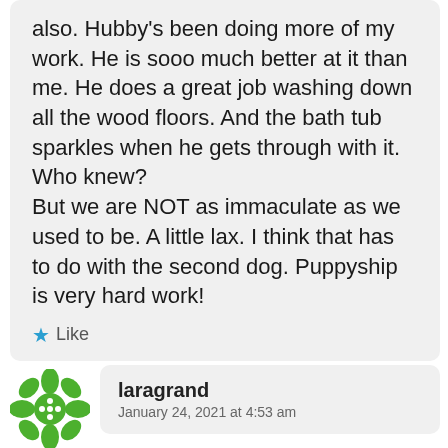also. Hubby's been doing more of my work. He is sooo much better at it than me. He does a great job washing down all the wood floors. And the bath tub sparkles when he gets through with it. Who knew? But we are NOT as immaculate as we used to be. A little lax. I think that has to do with the second dog. Puppyship is very hard work!
Like
[Figure (illustration): Green snowflake-like avatar icon for user laragrand]
laragrand
January 24, 2021 at 4:53 am